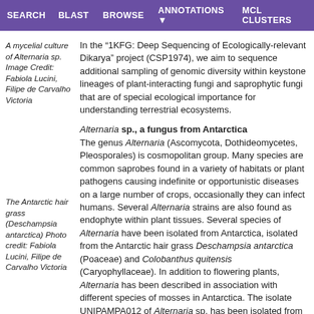SEARCH   BLAST   BROWSE   ANNOTATIONS   MCL CLUSTERS
A mycelial culture of Alternaria sp. Image Credit: Fabiola Lucini, Filipe de Carvalho Victoria
In the “1KFG: Deep Sequencing of Ecologically-relevant Dikarya” project (CSP1974), we aim to sequence additional sampling of genomic diversity within keystone lineages of plant-interacting fungi and saprophytic fungi that are of special ecological importance for understanding terrestrial ecosystems.
Alternaria sp., a fungus from Antarctica
The genus Alternaria (Ascomycota, Dothideomycetes, Pleosporales) is cosmopolitan group. Many species are common saprobes found in a variety of habitats or plant pathogens causing indefinite or opportunistic diseases on a large number of crops, occasionally they can infect humans. Several Alternaria strains are also found as endophyte within plant tissues. Several species of Alternaria have been isolated from Antarctica, isolated from the Antarctic hair grass Deschampsia antarctica (Poaceae) and Colobanthus quitensis (Caryophyllaceae). In addition to flowering plants, Alternaria has been described in association with different species of mosses in Antarctica. The isolate UNIPAMPA012 of Alternaria sp. has been isolated from healthy leaves of the Antarctic hair grass, one of two flowering plants native to Antarctica and the southernmost flowering plant.
The Antarctic hair grass (Deschampsia antarctica) Photo credit: Fabiola Lucini, Filipe de Carvalho Victoria
Researchers who wish to publish analyses using data from